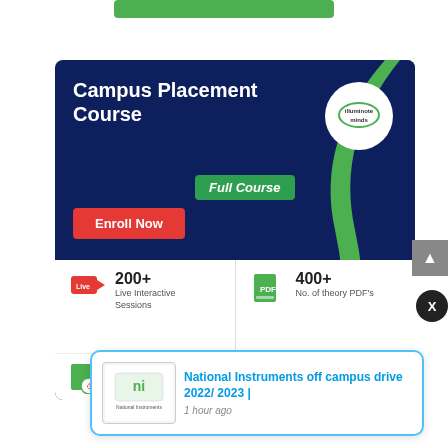[Figure (screenshot): Green button at top of page (partially visible)]
[Figure (infographic): Campus Placement Course advertisement card with dark navy background, showing title 'Campus Placement Course', 'Full Course' badge, 'Enroll Now' button, stats: 200+ Live Interactive Sessions, 400+ No. of theory PDFs, 400+ Mock tests, 11,000+, SELECTION bar, and company logos row (IIMs, TCS, INFOSYS, CAPGEMINI, ACCENTURE, WIPRO). Also contains illuminote minds logo circle and green curve accent.]
[Figure (screenshot): Popup notification showing National Instruments logo and text 'National Instruments off campus drive 2022/ 2023 | 1 hour ago']